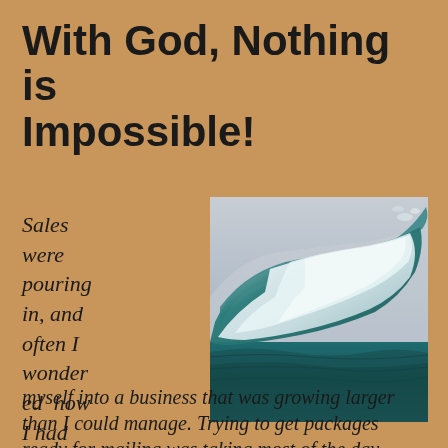With God, Nothing is Impossible!
Sales were pouring in, and often I wondered how I had gotten myself into a business that was growing larger than I could manage. Trying to get packages ready for mailing was taking most of the day.
[Figure (photo): A large ocean wave curling over, with teal and white water against a grey sky.]